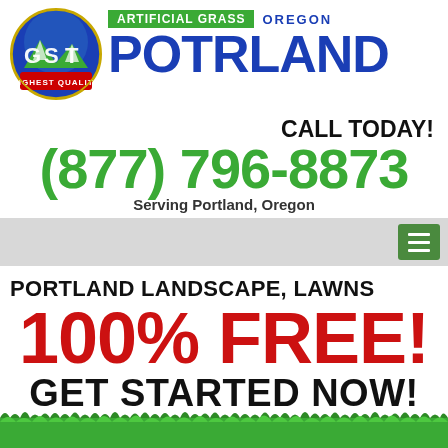[Figure (logo): GST Highest Quality circular logo with blue/green/navy color scheme]
ARTIFICIAL GRASS OREGON POTRLAND
CALL TODAY!
(877) 796-8873
Serving Portland, Oregon
[Figure (other): Navigation bar with hamburger menu button]
PORTLAND LANDSCAPE, LAWNS
100% FREE!
GET STARTED NOW!
[Figure (photo): Grass/lawn photo at bottom]